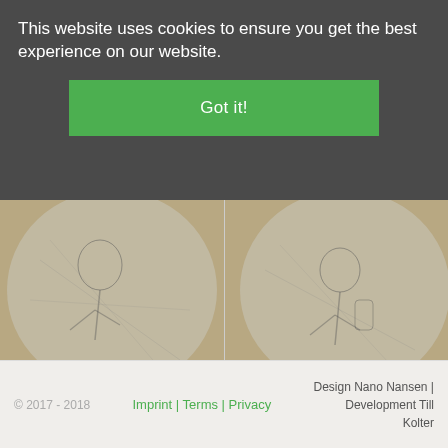This website uses cookies to ensure you get the best experience on our website.
Got it!
[Figure (illustration): Two album cover product cards showing sketch illustrations of musicians in circular frames, with cart and play buttons. Left card: Significant Other – Postdrome EP, 10.95 €. Right card: Loop Lf – Natural XT (Martsman remix) (140 gra..., 10.95 €.]
Significant Other
10.95 €
Postdrome EP
Loop Lf
10.95 €
Natural XT (Martsman remix) (140 gra...
© 2017 - 2018   Imprint | Terms | Privacy   Design Nano Nansen | Development Till Kolter